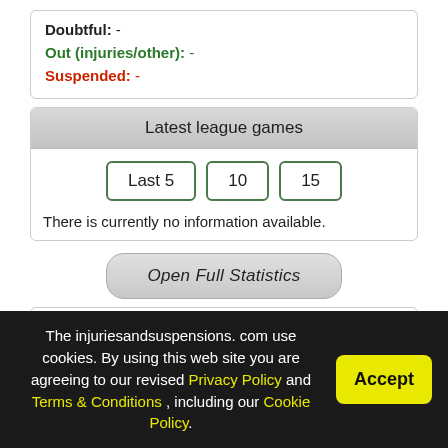Doubtful: -
Out (injuries/other): -
Suspended: -
Latest league games
Last 5 | 10 | 15
There is currently no information available.
Open Full Statistics
| TOTAL | HOME |
| --- | --- |
The injuriesandsuspensions. com use cookies. By using this web site you are agreeing to our revised Privacy Policy and Terms & Conditions , including our Cookie Policy.